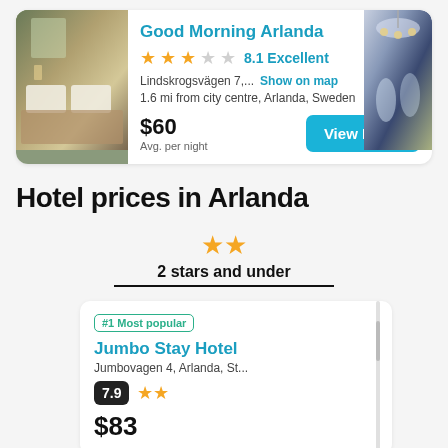[Figure (photo): Hotel room photo showing a bed with white pillows and ambient lighting]
Good Morning Arlanda
★★★☆☆ 8.1 Excellent
Lindskrogsvägen 7,... Show on map
1.6 mi from city centre, Arlanda, Sweden
$60
Avg. per night
View Deals
[Figure (photo): Hotel bar area with chandelier and cocktails]
Hotel prices in Arlanda
★★ 2 stars and under
#1 Most popular
Jumbo Stay Hotel
Jumbovagen 4, Arlanda, St...
7.9 ★★
$83